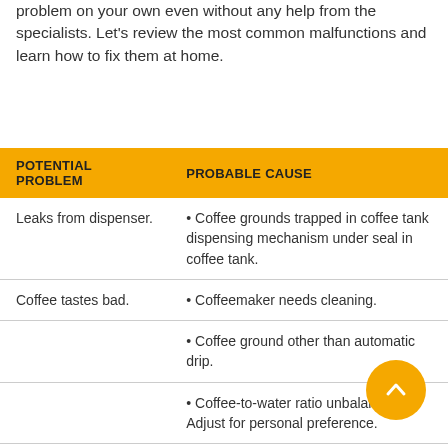problem on your own even without any help from the specialists. Let's review the most common malfunctions and learn how to fix them at home.
| POTENTIAL PROBLEM | PROBABLE CAUSE |
| --- | --- |
| Leaks from dispenser. | • Coffee grounds trapped in coffee tank dispensing mechanism under seal in coffee tank. |
| Coffee tastes bad. | • Coffeemaker needs cleaning. |
|  | • Coffee ground other than automatic drip. |
|  | • Coffee-to-water ratio unbalanced. Adjust for personal preference. |
|  | • Poor water quality (use filtered or bottled |